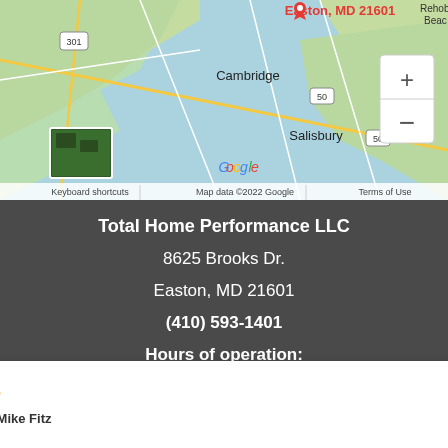[Figure (map): Google Maps screenshot showing the Eastern Shore of Maryland area with Easton, MD 21601 marked with a red pin. Shows Cambridge, Salisbury, route 301 and 50 visible. Zoom controls (+/-) on the right. Small satellite thumbnail in lower left. Google logo and map attribution at bottom.]
Total Home Performance LLC
8625 Brooks Dr.
Easton, MD 21601
(410) 593-1401
Hours of operation:
[Figure (other): Google review card with Google G logo, 5 gold stars, '5 Star Rating by Mike Fitz', date 08/23/22, and a close (X) button in top right corner.]